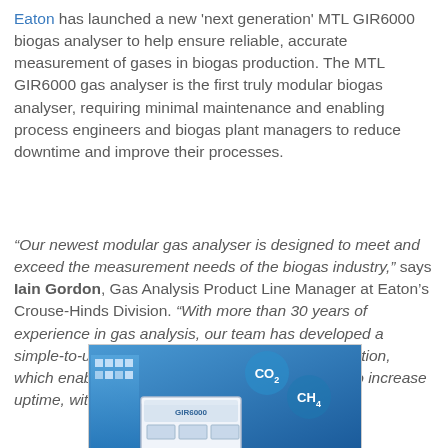Eaton has launched a new 'next generation' MTL GIR6000 biogas analyser to help ensure reliable, accurate measurement of gases in biogas production. The MTL GIR6000 gas analyser is the first truly modular biogas analyser, requiring minimal maintenance and enabling process engineers and biogas plant managers to reduce downtime and improve their processes.
“Our newest modular gas analyser is designed to meet and exceed the measurement needs of the biogas industry,” says Iain Gordon, Gas Analysis Product Line Manager at Eaton’s Crouse-Hinds Division. “With more than 30 years of experience in gas analysis, our team has developed a simple-to-use, high performance fit-and-forget solution, which enables process managers and engineers to increase uptime, with low cost of ownership.”
[Figure (photo): Photo of the MTL GIR6000 biogas analyser unit, white box device, on a blue background with CO2 and CH4 molecular graphics overlaid.]